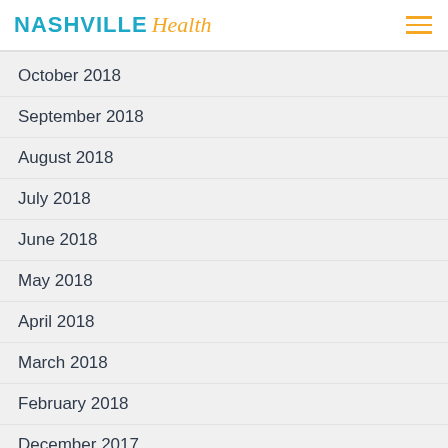NASHVILLE Health
October 2018
September 2018
August 2018
July 2018
June 2018
May 2018
April 2018
March 2018
February 2018
December 2017
November 2017